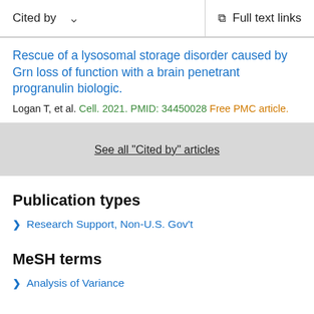Cited by   Full text links
Rescue of a lysosomal storage disorder caused by Grn loss of function with a brain penetrant progranulin biologic.
Logan T, et al. Cell. 2021. PMID: 34450028 Free PMC article.
See all "Cited by" articles
Publication types
Research Support, Non-U.S. Gov't
MeSH terms
Analysis of Variance